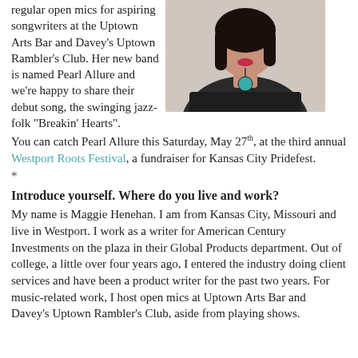regular open mics for aspiring songwriters at the Uptown Arts Bar and Davey's Uptown Rambler's Club. Her new band is named Pearl Allure and we're happy to share their debut song, the swinging jazz-folk "Breakin' Hearts". You can catch Pearl Allure this Saturday, May 27th, at the third annual Westport Roots Festival, a fundraiser for Kansas City Pridefest.
[Figure (photo): Close-up photo of a woman with dark hair, wearing a black top and a teal pendant necklace, against a white brick wall background.]
*
Introduce yourself. Where do you live and work?
My name is Maggie Henehan. I am from Kansas City, Missouri and live in Westport. I work as a writer for American Century Investments on the plaza in their Global Products department. Out of college, a little over four years ago, I entered the industry doing client services and have been a product writer for the past two years. For music-related work, I host open mics at Uptown Arts Bar and Davey's Uptown Rambler's Club, aside from playing shows.